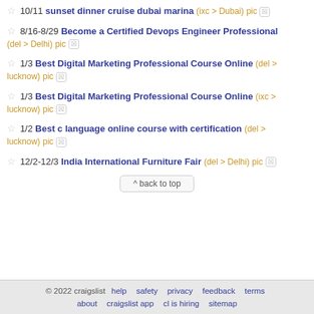10/11 sunset dinner cruise dubai marina (ixc > Dubai) pic [x]
8/16-8/29 Become a Certified Devops Engineer Professional (del > Delhi) pic [x]
1/3 Best Digital Marketing Professional Course Online (del > lucknow) pic [x]
1/3 Best Digital Marketing Professional Course Online (ixc > lucknow) pic [x]
1/2 Best c language online course with certification (del > lucknow) pic [x]
12/2-12/3 India International Furniture Fair (del > Delhi) pic [x]
^ back to top
© 2022 craigslist  help  safety  privacy  feedback  terms  about  craigslist app  cl is hiring  sitemap